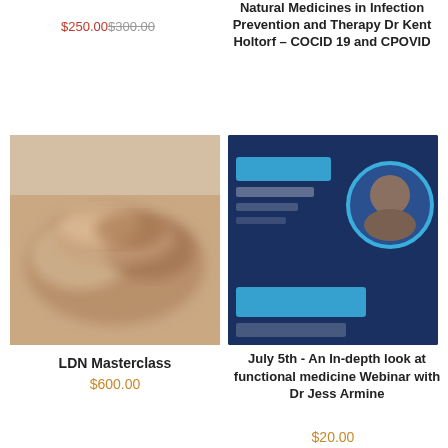$250.00 $300.00
Natural Medicines in Infection Prevention and Therapy Dr Kent Holtorf – COCID 19 and CPOVID Long Haulers
$20.00
[Figure (photo): Blurred photo of multiple hands stacked together in a team gesture]
LDN Masterclass
$600.00
[Figure (photo): Promotional webinar graphic on dark blue background with a circular portrait photo of Dr Jess Armine and teal/blue banner bars]
July 5th - An In-depth look at functional medicine Webinar with Dr Jess Armine
$20.00